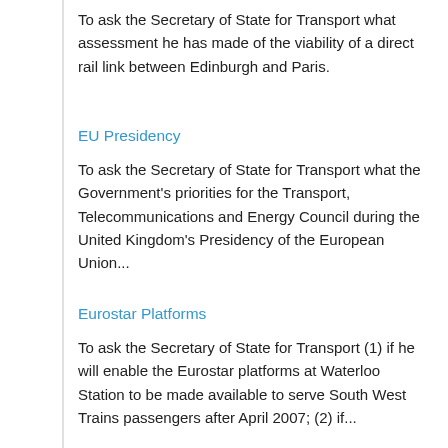To ask the Secretary of State for Transport what assessment he has made of the viability of a direct rail link between Edinburgh and Paris.
EU Presidency
To ask the Secretary of State for Transport what the Government's priorities for the Transport, Telecommunications and Energy Council during the United Kingdom's Presidency of the European Union...
Eurostar Platforms
To ask the Secretary of State for Transport (1) if he will enable the Eurostar platforms at Waterloo Station to be made available to serve South West Trains passengers after April 2007; (2) if...